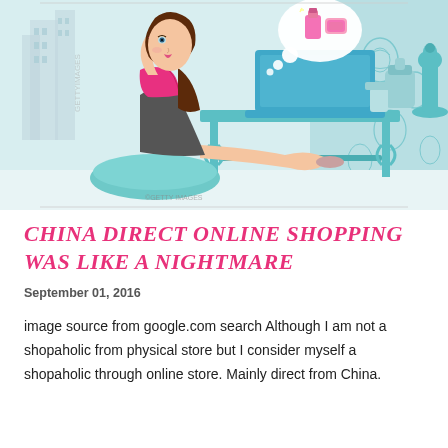[Figure (illustration): Illustrated image of a stylish young woman with brown hair and pink headband, wearing a pink top and grey skirt, sitting on a teal cushion at a teal decorative table with a blue laptop. A thought bubble shows a pink cosmetic product. Background has city buildings and decorative wallpaper. Getty Images watermark visible.]
CHINA DIRECT ONLINE SHOPPING WAS LIKE A NIGHTMARE
September 01, 2016
image source from google.com search Although I am not a shopaholic from physical store but I consider myself a shopaholic through online store. Mainly direct from China.